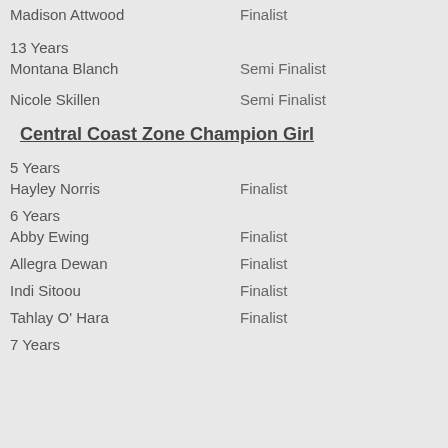Madison Attwood — Finalist
13 Years
Montana Blanch — Semi Finalist
Nicole Skillen — Semi Finalist
Central Coast Zone Champion Girl
5 Years
Hayley Norris — Finalist
6 Years
Abby Ewing — Finalist
Allegra Dewan — Finalist
Indi Sitoou — Finalist
Tahlay O' Hara — Finalist
7 Years